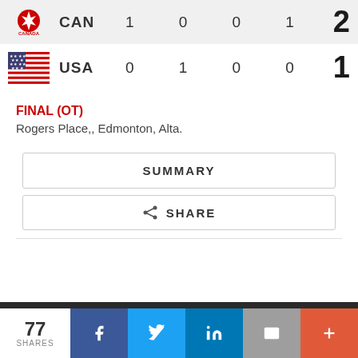[Figure (other): Canada hockey team logo with maple leaf]
CAN  1  0  0  1  2
[Figure (other): USA flag]
USA  0  1  0  0  1
FINAL (OT)
Rogers Place,, Edmonton, Alta.
SUMMARY
SHARE
77 SHARES
f  Twitter  in  Email  +